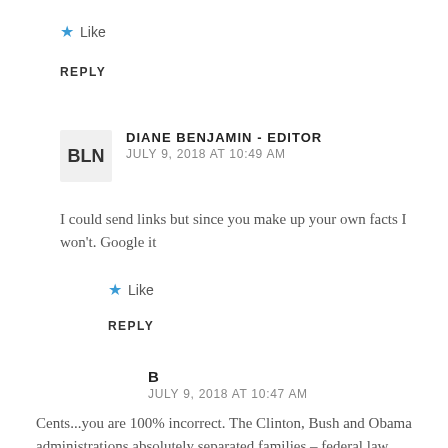★ Like
REPLY
DIANE BENJAMIN - EDITOR
JULY 9, 2018 AT 10:49 AM
I could send links but since you make up your own facts I won't. Google it
★ Like
REPLY
B
JULY 9, 2018 AT 10:47 AM
Cents...you are 100% incorrect. The Clinton, Bush and Obama administrations absolutely separated families – federal law